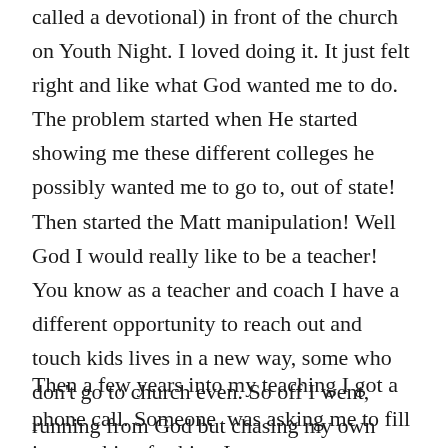called a devotional) in front of the church on Youth Night. I loved doing it. It just felt right and like what God wanted me to do. The problem started when He started showing me these different colleges he possibly wanted me to go to, out of state! Then started the Matt manipulation! Well God I would really like to be a teacher! You know as a teacher and coach I have a different opportunity to reach out and touch kids lives in a new way, some who don't go to church even. So off I went, running from God but chasing my own dreams. Trying to mold my life into what I wanted it to be.
Then a few years into my teaching I got a phone call. Someone  was asking me to fill in preaching for him. It